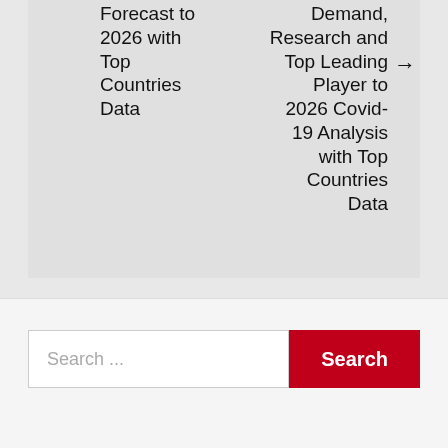Forecast to 2026 with Top Countries Data
Demand, Research and Top Leading Player to 2026 Covid-19 Analysis with Top Countries Data →
Search ...
Search